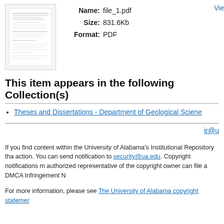[Figure (other): Thumbnail preview of a PDF document (file_1.pdf), showing a small rendered page image with text lines visible]
Name: file_1.pdf
Size: 831.6Kb
Format: PDF
Vie
This item appears in the following Collection(s)
Theses and Dissertations - Department of Geological Sciene
ir@u
If you find content within the University of Alabama's Institutional Repository tha action. You can send notification to security@ua.edu. Copyright notifications m authorized representative of the copyright owner can file a DMCA Infringement N
For more information, please see The University of Alabama copyright statemer